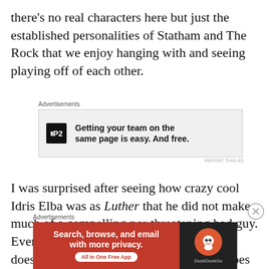there’s no real characters here but just the established personalities of Statham and The Rock that we enjoy hanging with and seeing playing off of each other.
[Figure (other): Advertisement banner for P2 with text: Getting your team on the same page is easy. And free.]
I was surprised after seeing how crazy cool Idris Elba was as Luther that he did not make much of a compelling nor threatening bad guy. Even winning a fist fight in an early scene doesn’t make him a threat because our heroes always manage to get away from him. Early Terminator films managed
[Figure (other): Advertisement banner for DuckDuckGo with text: Search, browse, and email with more privacy. All in One Free App]